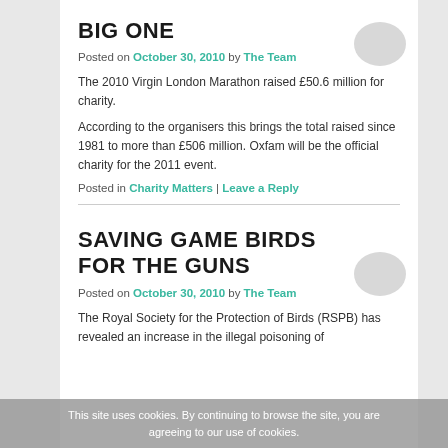BIG ONE
Posted on October 30, 2010 by The Team
The 2010 Virgin London Marathon raised £50.6 million for charity.
According to the organisers this brings the total raised since 1981 to more than £506 million. Oxfam will be the official charity for the 2011 event.
Posted in Charity Matters | Leave a Reply
SAVING GAME BIRDS FOR THE GUNS
Posted on October 30, 2010 by The Team
The Royal Society for the Protection of Birds (RSPB) has revealed an increase in the illegal poisoning of
This site uses cookies. By continuing to browse the site, you are agreeing to our use of cookies.